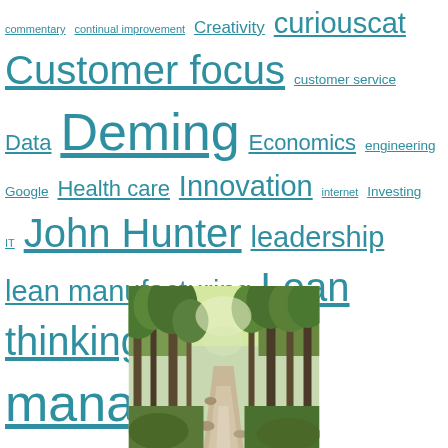commentary continual improvement Creativity curiouscat Customer focus customer service Data Deming Economics engineering Google Health care Innovation internet Investing IT John Hunter leadership lean manufacturing Lean thinking management Management managing people Manufacturing organization as a system Popular Process improvement Psychology Public Sector Quality tools quote respect for people Six sigma Software Development Statistics Systems thinking tips Toyota Toyota Production System (TPS) webcast
[Figure (photo): A forest path or trail with tall pine/fir trees on either side, natural outdoor setting with rocks and greenery visible]